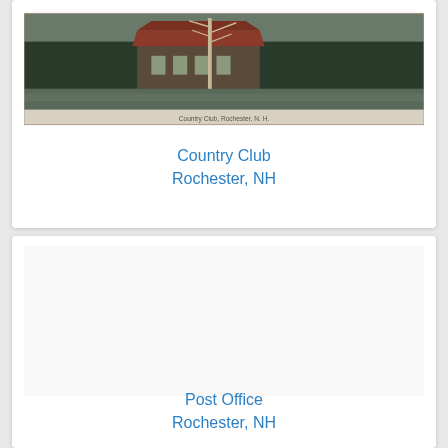[Figure (photo): Vintage postcard photograph of Country Club, Rochester, NH. Shows a building with a red/brown roof near water, with a tall bare tree in the foreground and dense trees in the background. Caption text at bottom of photo reads 'Country Club, Rochester, N.H.']
Country Club
Rochester, NH
[Figure (photo): Second postcard card area for Post Office, Rochester, NH — image area appears blank/white (image not loaded or cropped out of view)]
Post Office
Rochester, NH